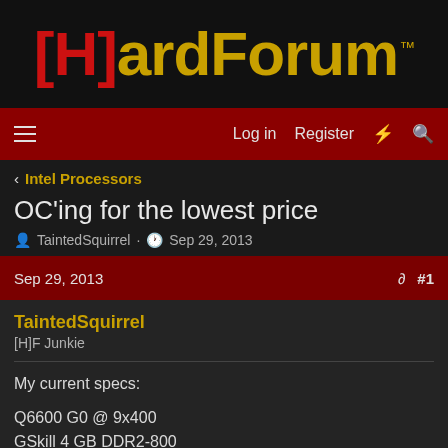[H]ardForum™
Log in  Register
< Intel Processors
OC'ing for the lowest price
TaintedSquirrel · Sep 29, 2013
Sep 29, 2013  #1
TaintedSquirrel
[H]F Junkie
My current specs:

Q6600 G0 @ 9x400
GSkill 4 GB DDR2-800
Sapphire ATI HD5870